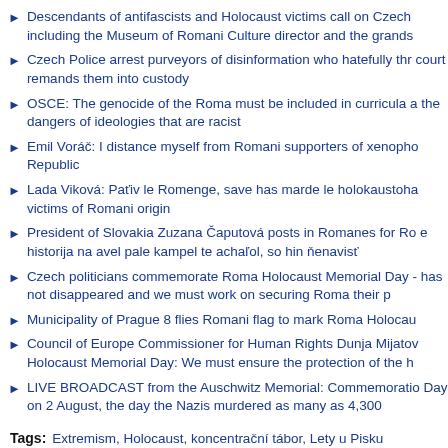Descendants of antifascists and Holocaust victims call on Czech including the Museum of Romani Culture director and the grands
Czech Police arrest purveyors of disinformation who hatefully thr court remands them into custody
OSCE: The genocide of the Roma must be included in curricula a the dangers of ideologies that are racist
Emil Voráč: I distance myself from Romani supporters of xenopho Republic
Lada Viková: Paťiv le Romenge, save has marde le holokaustoha victims of Romani origin
President of Slovakia Zuzana Čaputová posts in Romanes for Ro e historija na avel pale kampel te achaľol, so hin ňenavisť
Czech politicians commemorate Roma Holocaust Memorial Day - has not disappeared and we must work on securing Roma their p
Municipality of Prague 8 flies Romani flag to mark Roma Holocau
Council of Europe Commissioner for Human Rights Dunja Mijatov Holocaust Memorial Day: We must ensure the protection of the h
LIVE BROADCAST from the Auschwitz Memorial: Commemoratio Day on 2 August, the day the Nazis murdered as many as 4,300
Tags: Extremism, Holocaust, koncentrační tábor, Lety u Pisku